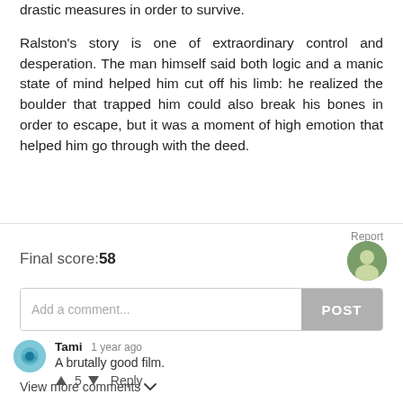drastic measures in order to survive.

Ralston's story is one of extraordinary control and desperation. The man himself said both logic and a manic state of mind helped him cut off his limb: he realized the boulder that trapped him could also break his bones in order to escape, but it was a moment of high emotion that helped him go through with the deed.
Report
Final score:58
Add a comment...
POST
Tami  1 year ago
A brutally good film.
↑ 5 ↓  Reply
View more comments ∨